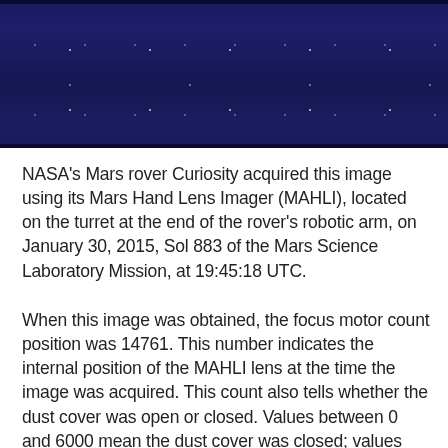[Figure (photo): Dark navy blue image, likely a close-up of a surface or sky photographed by the MAHLI camera on NASA's Curiosity Mars rover. The image appears deep blue-black with subtle texture.]
NASA's Mars rover Curiosity acquired this image using its Mars Hand Lens Imager (MAHLI), located on the turret at the end of the rover's robotic arm, on January 30, 2015, Sol 883 of the Mars Science Laboratory Mission, at 19:45:18 UTC.
When this image was obtained, the focus motor count position was 14761. This number indicates the internal position of the MAHLI lens at the time the image was acquired. This count also tells whether the dust cover was open or closed. Values between 0 and 6000 mean the dust cover was closed; values between 12500 and 16000 occur when the cover is open. For close-up images, the motor count can in some cases be used to estimate the distance between the MAHLI lens and target. For example, in-focus images obtained with the dust cover open for which the lens